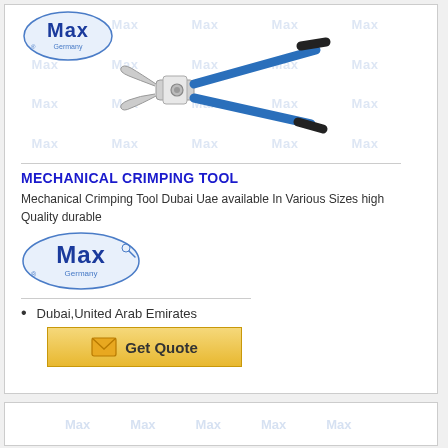[Figure (photo): Mechanical crimping tool with blue handles and Max Germany logo watermark background]
MECHANICAL CRIMPING TOOL
Mechanical Crimping Tool Dubai Uae available In Various Sizes high Quality durable
[Figure (logo): Max Germany logo - blue stylized text with wrench]
Dubai,United Arab Emirates
[Figure (other): Get Quote button with envelope icon]